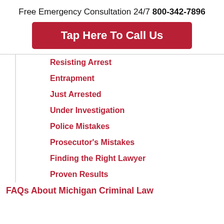Free Emergency Consultation 24/7 800-342-7896
Tap Here To Call Us
Resisting Arrest
Entrapment
Just Arrested
Under Investigation
Police Mistakes
Prosecutor's Mistakes
Finding the Right Lawyer
Proven Results
FAQs About Michigan Criminal Law